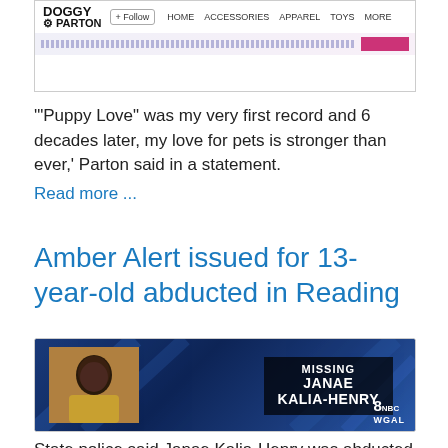[Figure (screenshot): Top portion of a website for Dolly Parton pet products with navigation bar showing HOME, ACCESSORIES, APPAREL, TOYS, MORE, and a search/filter bar with pink button.]
'"Puppy Love" was my very first record and 6 decades later, my love for pets is stronger than ever,' Parton said in a statement. Read more ...
Amber Alert issued for 13-year-old abducted in Reading
[Figure (screenshot): News broadcast screenshot showing a missing person report for Janae Kalia-Henry with WGAL Channel 8 logo. Shows a photo of a young Black girl against a blue background with text overlay reading MISSING JANAE KALIA-HENRY.]
State police said Janae Kalia-Henry was abducted by an unknown